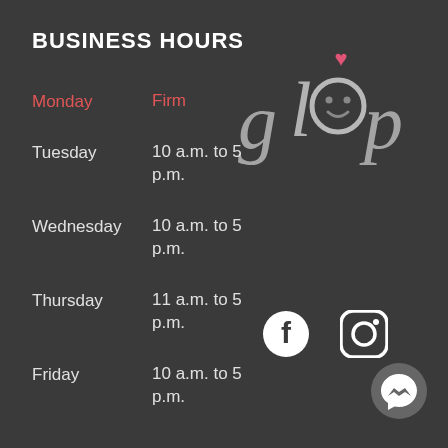BUSINESS HOURS
Monday — Firm
Tuesday — 10 a.m. to 5 p.m.
Wednesday — 10 a.m. to 5 p.m.
Thursday — 11 a.m. to 5 p.m.
Friday — 10 a.m. to 5 p.m.
[Figure (logo): glup logo in cursive script with a pink heart above the letter u and a smiley face dot]
[Figure (other): Facebook and Instagram social media icons in white on dark background]
[Figure (other): Facebook Messenger chat bubble icon in gray circle]